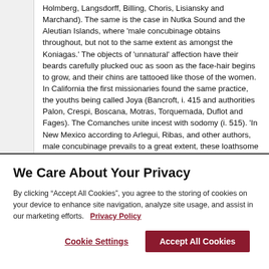Holmberg, Langsdorff, Billing, Choris, Lisiansky and Marchand). The same is the case in Nutka Sound and the Aleutian Islands, where 'male concubinage obtains throughout, but not to the same extent as amongst the Koniagas.' The objects of 'unnatural' affection have their beards carefully plucked ouc as soon as the face-hair begins to grow, and their chins are tattooed like those of the women. In California the first missionaries found the same practice, the youths being called Joya (Bancroft, i. 415 and authorities Palon, Crespi, Boscana, Motras, Torquemada, Duflot and Fages). The Comanches unite incest with sodomy (i. 515). 'In New Mexico according to Arlegui, Ribas, and other authors, male concubinage prevails to a great extent, these loathsome semblances of humanity, whom to call beastly were a slander upon beasts, dress themselves in
We Care About Your Privacy
By clicking “Accept All Cookies”, you agree to the storing of cookies on your device to enhance site navigation, analyze site usage, and assist in our marketing efforts.   Privacy Policy
Cookie Settings
Accept All Cookies